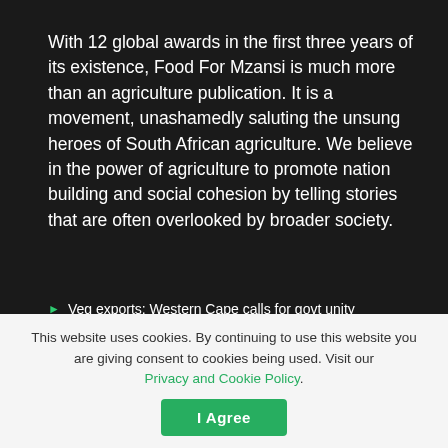With 12 global awards in the first three years of its existence, Food For Mzansi is much more than an agriculture publication. It is a movement, unashamedly saluting the unsung heroes of South African agriculture. We believe in the power of agriculture to promote nation building and social cohesion by telling stories that are often overlooked by broader society.
Veg exports: Western Cape calls for govt unity
Podcast: Steps for setting up a layer production
How food forests can create sustainable communities
BREAKING: South Africa's maize harvest estimates up by 2%
This website uses cookies. By continuing to use this website you are giving consent to cookies being used. Visit our Privacy and Cookie Policy.